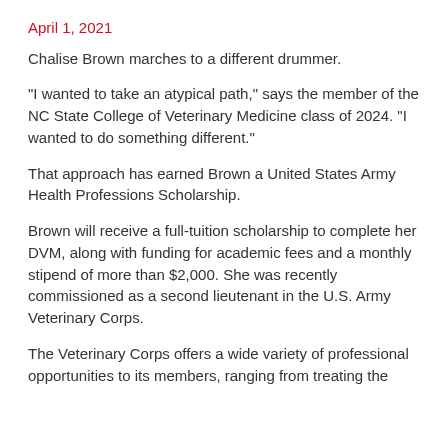April 1, 2021
Chalise Brown marches to a different drummer.
“I wanted to take an atypical path,” says the member of the NC State College of Veterinary Medicine class of 2024. “I wanted to do something different.”
That approach has earned Brown a United States Army Health Professions Scholarship.
Brown will receive a full-tuition scholarship to complete her DVM, along with funding for academic fees and a monthly stipend of more than $2,000. She was recently commissioned as a second lieutenant in the U.S. Army Veterinary Corps.
The Veterinary Corps offers a wide variety of professional opportunities to its members, ranging from treating the